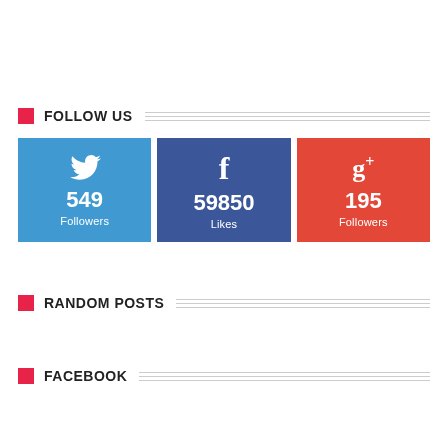FOLLOW US
[Figure (infographic): Three social media stat boxes: Twitter (549 Followers, blue), Facebook (59850 Likes, dark blue), Google+ (195 Followers, red)]
RANDOM POSTS
FACEBOOK